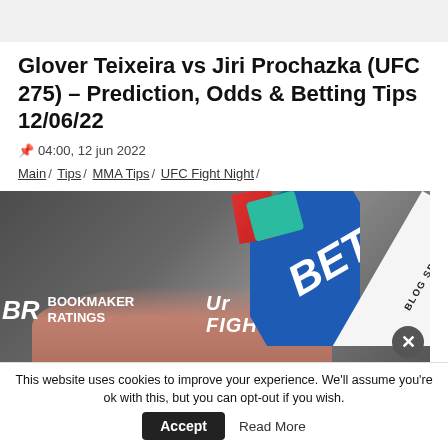Glover Teixeira vs Jiri Prochazka (UFC 275) – Prediction, Odds & Betting Tips 12/06/22
04:00, 12 jun 2022
Main / Tips / MMA Tips / UFC Fight Night /
[Figure (photo): UFC fight promotional image with BR Bookmaker Ratings logo, UFC Fight Night branding, and a blue BET card with BLOG SPONSOR banner in the top right. A close button (X) is visible in the bottom right corner.]
This website uses cookies to improve your experience. We'll assume you're ok with this, but you can opt-out if you wish. Accept Read More